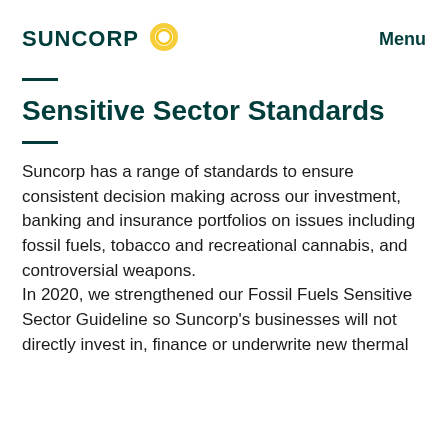SUNCORP  Menu
Sensitive Sector Standards
Suncorp has a range of standards to ensure consistent decision making across our investment, banking and insurance portfolios on issues including fossil fuels, tobacco and recreational cannabis, and controversial weapons.
In 2020, we strengthened our Fossil Fuels Sensitive Sector Guideline so Suncorp's businesses will not directly invest in, finance or underwrite new thermal